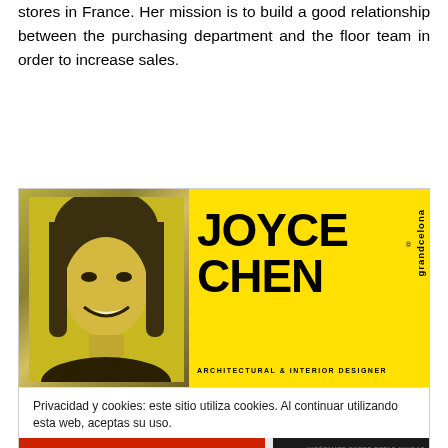stores in France. Her mission is to build a good relationship between the purchasing department and the floor team in order to increase sales.
[Figure (illustration): Advertisement banner for Joyce Chen, Architectural & Interior Designer, on a bright yellow background with a yellow-tinted photo of an Asian woman smiling on the left, large bold black text 'JOYCE CHEN' in the center, and 'grandcelona LEADERSHIP' branding on the right side.]
Privacidad y cookies: este sitio utiliza cookies. Al continuar utilizando esta web, aceptas su uso.
Para obtener más información, incluido cómo controlar las cookies, consulta aquí: Política de cookies